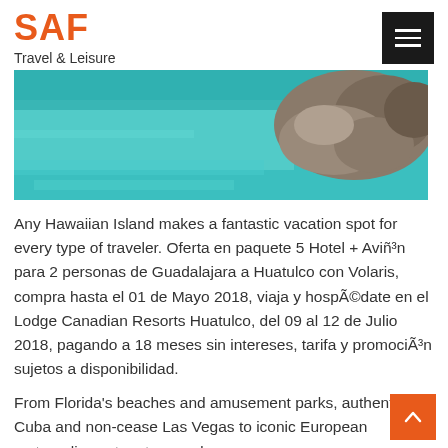SAF
Travel & Leisure
[Figure (photo): Aerial view of turquoise ocean water with rocky coastline, tropical travel destination]
Any Hawaiian Island makes a fantastic vacation spot for every type of traveler. Oferta en paquete 5 Hotel + Aviñ³n para 2 personas de Guadalajara a Huatulco con Volaris, compra hasta el 01 de Mayo 2018, viaja y hospÃ©date en el Lodge Canadian Resorts Huatulco, del 09 al 12 de Julio 2018, pagando a 18 meses sin intereses, tarifa y promociÃ³n sujetos a disponibilidad.
From Florida's beaches and amusement parks, authentic Cuba and non-cease Las Vegas to iconic European metropolis centre stays and